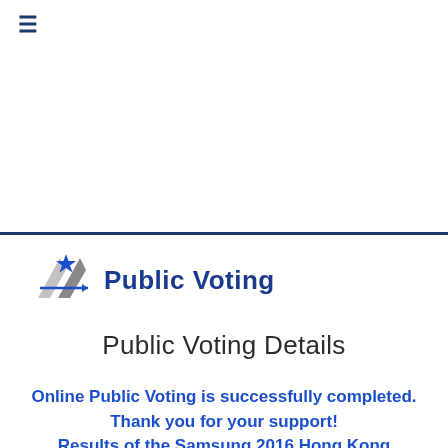≡
[Figure (logo): Star/arrow logo with 'Public Voting' text in bold blue]
Public Voting Details
Online Public Voting is successfully completed. Thank you for your support! Results of the Samsung 2016 Hong Kong Sports Stars Awards will be announced at the